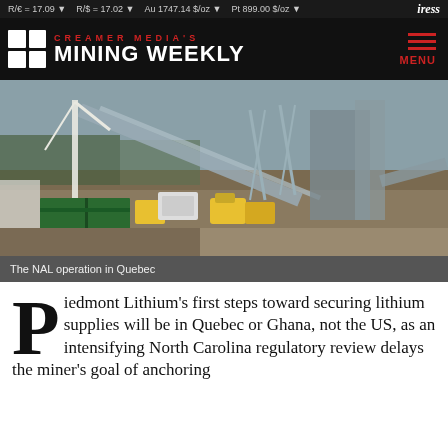R/€ = 17.09 ▼  R/$ = 17.02 ▼  Au 1747.14 $/oz ▼  Pt 899.00 $/oz ▼  iress
Creamer Media's Mining Weekly
[Figure (photo): Aerial view of the NAL mining operation in Quebec showing construction site with cranes, conveyor belts, industrial structures, yellow machinery, and a green building]
The NAL operation in Quebec
Piedmont Lithium's first steps toward securing lithium supplies will be in Quebec or Ghana, not the US, as an intensifying North Carolina regulatory review delays the miner's goal of anchoring